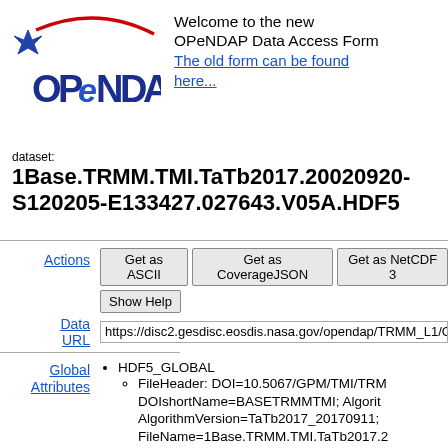[Figure (logo): OPeNDAP logo with red arc and blue star]
Welcome to the new OPeNDAP Data Access Form
The old form can be found here...
dataset: 1Base.TRMM.TMI.TaTb2017.20020920-S120205-E133427.027643.V05A.HDF5
Actions
Get as ASCII | Get as CoverageJSON | Get as NetCDF 3 | Show Help
Data URL
https://disc2.gesdisc.eosdis.nasa.gov/opendap/TRMM_L1/G...
Global Attributes
HDF5_GLOBAL
FileHeader: DOI=10.5067/GPM/TMI/TRMM... DOIshortName=BASETRMMTMI; AlgorithmVersion=TaTb2017_20170911; FileName=1Base.TRMM.TMI.TaTb2017.2... E133427.027643.V05A.HDF5; SatelliteName=... GenerationDateTime=2017-10-03T08:47:0...